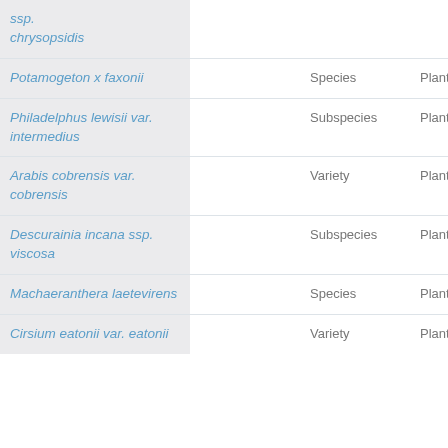| ssp. chrysopsidis |  |  |  |
| Potamogeton x faxonii |  | Species | Plant |
| Philadelphus lewisii var. intermedius |  | Subspecies | Plant |
| Arabis cobrensis var. cobrensis |  | Variety | Plant |
| Descurainia incana ssp. viscosa |  | Subspecies | Plant |
| Machaeranthera laetevirens |  | Species | Plant |
| Cirsium eatonii var. eatonii |  | Variety | Plant |